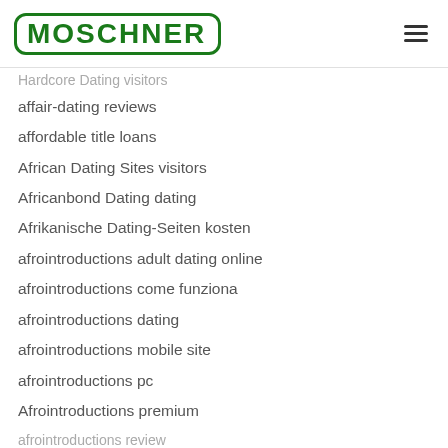MOSCHNER
Hardcore Dating visitors
affair-dating reviews
affordable title loans
African Dating Sites visitors
Africanbond Dating dating
Afrikanische Dating-Seiten kosten
afrointroductions adult dating online
afrointroductions come funziona
afrointroductions dating
afrointroductions mobile site
afrointroductions pc
Afrointroductions premium
afrointroductions review